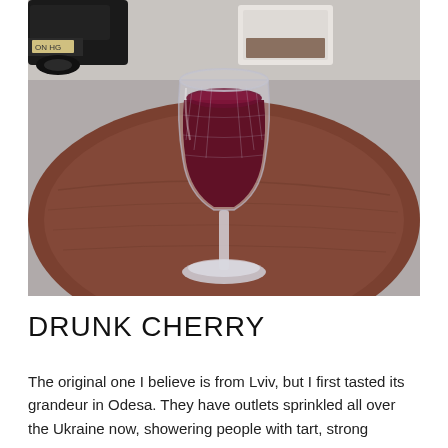[Figure (photo): A crystal cut wine glass filled with dark red cherry liqueur, sitting on a round wooden table outdoors. A dark car and a light-colored raised planter are visible in the background on a grey pavement.]
DRUNK CHERRY
The original one I believe is from Lviv, but I first tasted its grandeur in Odesa. They have outlets sprinkled all over the Ukraine now, showering people with tart, strong